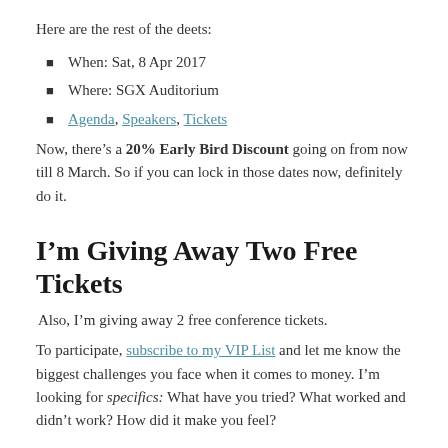Here are the rest of the deets:
When: Sat, 8 Apr 2017
Where: SGX Auditorium
Agenda, Speakers, Tickets
Now, there’s a 20% Early Bird Discount going on from now till 8 March. So if you can lock in those dates now, definitely do it.
I’m Giving Away Two Free Tickets
Also, I’m giving away 2 free conference tickets.
To participate, subscribe to my VIP List and let me know the biggest challenges you face when it comes to money. I’m looking for specifics: What have you tried? What worked and didn’t work? How did it make you feel?
Last entry comes on Sunday, 5 March. I’ll select the top...